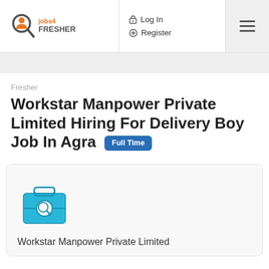Jobs 4 Fresher | Log In | Register
Fresher
Workstar Manpower Private Limited Hiring For Delivery Boy Job In Agra Full Time
[Figure (logo): Briefcase/job search icon in blue]
Workstar Manpower Private Limited